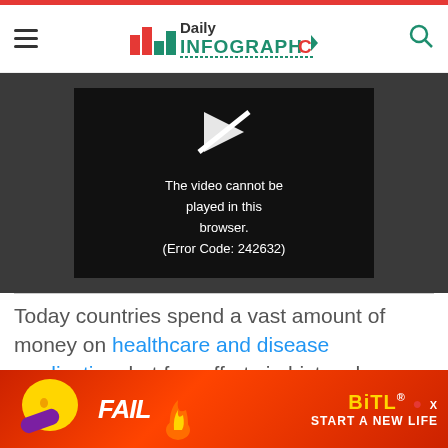Daily Infographic
[Figure (screenshot): Video player showing error: 'The video cannot be played in this browser. (Error Code: 242632)']
Today countries spend a vast amount of money on healthcare and disease eradication, but few efforts in history have been as successful as the eradication of... Rot...
[Figure (other): BitLife advertisement banner: FAIL - START A NEW LIFE]